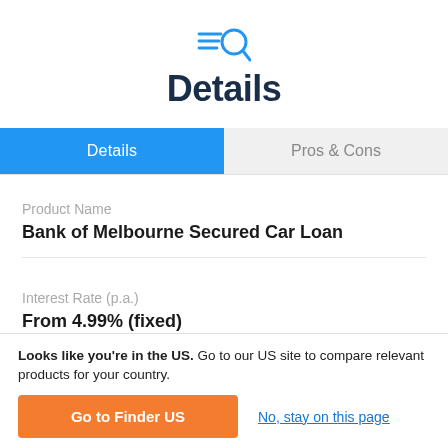[Figure (logo): Finder search icon — magnifying glass with speed lines, in blue]
Details
Details | Pros & Cons (tab bar)
Product Name
Bank of Melbourne Secured Car Loan
Interest Rate (p.a.)
From 4.99% (fixed)
Looks like you're in the US. Go to our US site to compare relevant products for your country.
Go to Finder US
No, stay on this page